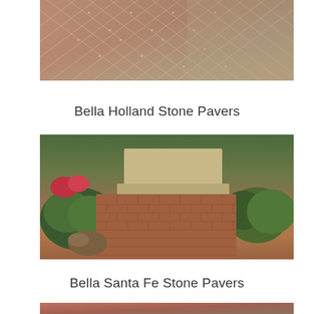[Figure (photo): Close-up photo of paver stones in a diamond/grid pattern, reddish-brown pavers with lighter mortar joints and some grayish-tan stone pavers mixed in]
Bella Holland Stone Pavers
[Figure (photo): Outdoor garden pathway made of red brick/Holland stone pavers flanked by ornamental shrubs, flowers, and a stone bench/wall structure in background]
Bella Santa Fe Stone Pavers
[Figure (photo): Partial view of Santa Fe stone pavers at bottom edge of page]